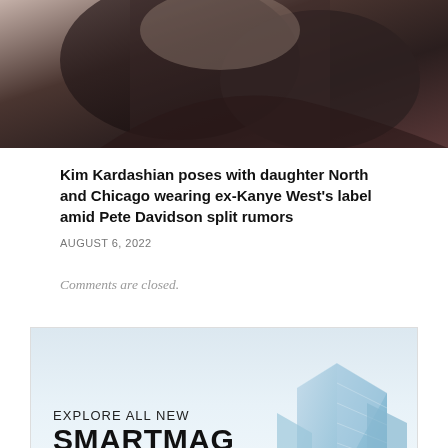[Figure (photo): Top portion of a photo showing people wearing dark clothing, cropped view]
Kim Kardashian poses with daughter North and Chicago wearing ex-Kanye West's label amid Pete Davidson split rumors
AUGUST 6, 2022
Comments are closed.
[Figure (illustration): SmartMag advertisement banner showing 'EXPLORE ALL NEW SMARTMAG' text with a modern glass building illustration]